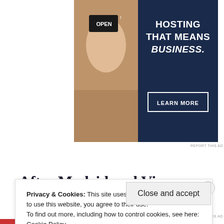[Figure (photo): Advertisement banner: left side shows a person holding an 'OPEN' sign (photo), right side is dark navy blue with bold white text 'HOSTING THAT MEANS BUSINESS.' and a 'LEARN MORE' button with white border.]
REPORT THIS AD
After Madrid and Vienna and Tel Aviv and Jerusalem and Athens and Brussels, I landed
Privacy & Cookies: This site uses cookies. By continuing to use this website, you agree to their use.
To find out more, including how to control cookies, see here:
Cookie Policy
Close and accept